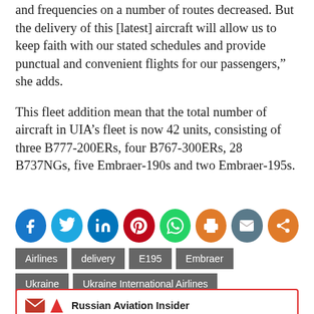and frequencies on a number of routes decreased. But the delivery of this [latest] aircraft will allow us to keep faith with our stated schedules and provide punctual and convenient flights for our passengers,” she adds.
This fleet addition mean that the total number of aircraft in UIA’s fleet is now 42 units, consisting of three B777-200ERs, four B767-300ERs, 28 B737NGs, five Embraer-190s and two Embraer-195s.
[Figure (infographic): Row of 8 social sharing icon circles: Facebook (blue), Twitter (light blue), LinkedIn (dark blue), Pinterest (red), WhatsApp (green), Print (orange), Email (grey-blue), Share (orange)]
Airlines
delivery
E195
Embraer
Ukraine
Ukraine International Airlines
Russian Aviation Insider